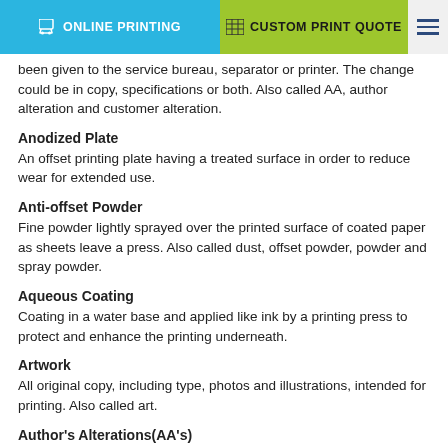ONLINE PRINTING | CUSTOM PRINT QUOTE
been given to the service bureau, separator or printer. The change could be in copy, specifications or both. Also called AA, author alteration and customer alteration.
Anodized Plate
An offset printing plate having a treated surface in order to reduce wear for extended use.
Anti-offset Powder
Fine powder lightly sprayed over the printed surface of coated paper as sheets leave a press. Also called dust, offset powder, powder and spray powder.
Aqueous Coating
Coating in a water base and applied like ink by a printing press to protect and enhance the printing underneath.
Artwork
All original copy, including type, photos and illustrations, intended for printing. Also called art.
Author's Alterations(AA's)